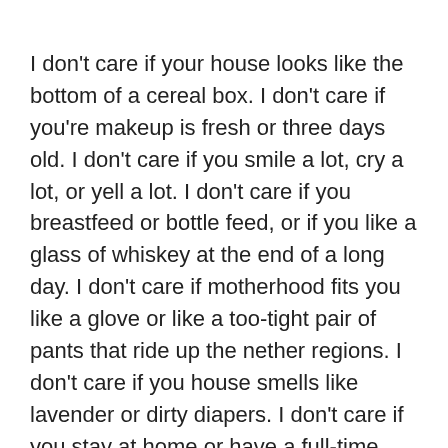I don't care if your house looks like the bottom of a cereal box. I don't care if you're makeup is fresh or three days old. I don't care if you smile a lot, cry a lot, or yell a lot. I don't care if you breastfeed or bottle feed, or if you like a glass of whiskey at the end of a long day. I don't care if motherhood fits you like a glove or like a too-tight pair of pants that ride up the nether regions. I don't care if you house smells like lavender or dirty diapers. I don't care if you stay at home or have a full-time job. I don't care if you're keto or paleo or eat a lot of frozen pizza and carrot sticks.